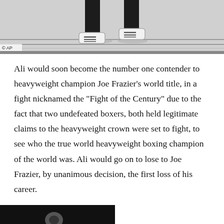[Figure (photo): Black and white photograph showing legs and feet of a person wearing Adidas sneakers, standing on a court or floor. AP copyright watermark visible in lower left corner.]
Ali would soon become the number one contender to heavyweight champion Joe Frazier’s world title, in a fight nicknamed the “Fight of the Century” due to the fact that two undefeated boxers, both held legitimate claims to the heavyweight crown were set to fight, to see who the true world heavyweight boxing champion of the world was. Ali would go on to lose to Joe Frazier, by unanimous decision, the first loss of his career.
[Figure (photo): Partial black and white photograph visible at the bottom of the page, mostly cut off, showing a dark background with what appears to be a circular shape.]